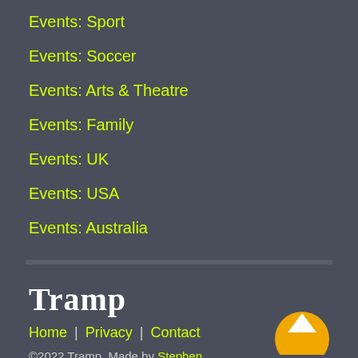Events: Sport
Events: Soccer
Events: Arts & Theatre
Events: Family
Events: UK
Events: USA
Events: Australia
Tramp
Home | Privacy | Contact
©2022 Tramp. Made by Stephen